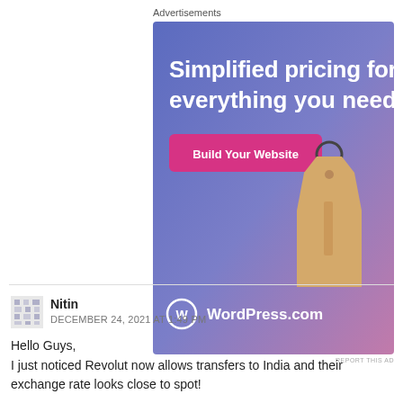Advertisements
[Figure (illustration): WordPress.com advertisement banner with gradient blue-to-pink background, price tag keychain image, text 'Simplified pricing for everything you need.', pink 'Build Your Website' button, and WordPress.com logo at bottom.]
REPORT THIS AD
Nitin
DECEMBER 24, 2021 AT 1:49 PM
Hello Guys,
I just noticed Revolut now allows transfers to India and their exchange rate looks close to spot!